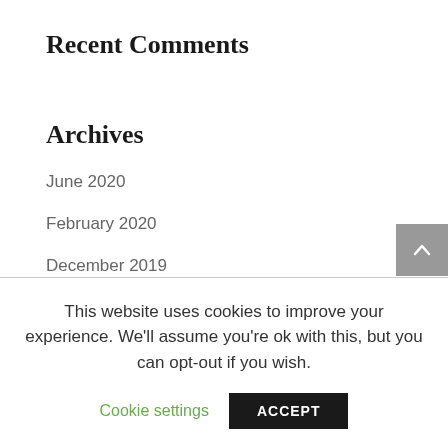Recent Comments
Archives
June 2020
February 2020
December 2019
August 2019
July 2019
This website uses cookies to improve your experience. We'll assume you're ok with this, but you can opt-out if you wish.
Cookie settings
ACCEPT